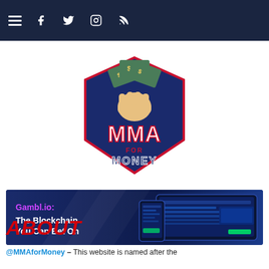Navigation bar with hamburger menu and social icons: Facebook, Twitter, Instagram, RSS
[Figure (logo): MMA for Money logo: fist holding dollar bills with stylized MMA FOR MONEY text in blue and red shield shape]
[Figure (infographic): Gambl.io advertisement banner: 'Gambl.io: The Blockchain You Can Bet On' with purple title text on dark blue background with tablet/phone device images]
ABOUT
@MMAforMoney – This website is named after the